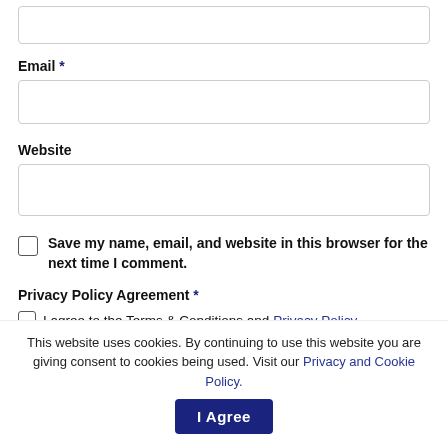Email *
Website
Save my name, email, and website in this browser for the next time I comment.
Privacy Policy Agreement *
I agree to the Terms & Conditions and Privacy Policy.
This website uses cookies. By continuing to use this website you are giving consent to cookies being used. Visit our Privacy and Cookie Policy.